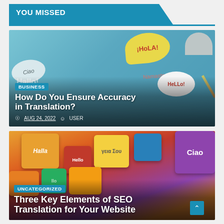YOU MISSED
[Figure (photo): Photo of speech bubble sticky notes on a blue wooden background with words in multiple languages (¡Hola!, Hello!, Ciao, Hallo) along with headphones and pencils. Overlaid with category badge 'BUSINESS', article title 'How Do You Ensure Accuracy in Translation?', date 'AUG 24, 2022', and author 'USER'.]
[Figure (photo): Photo of colorful keyboard keys with words in different languages (Halla, Ciao, γεια Σου, Hello) on a vibrant multi-colored background. Overlaid with category badge 'UNCATEGORIZED' and article title 'Three Key Elements of SEO Translation for Your Website'.]